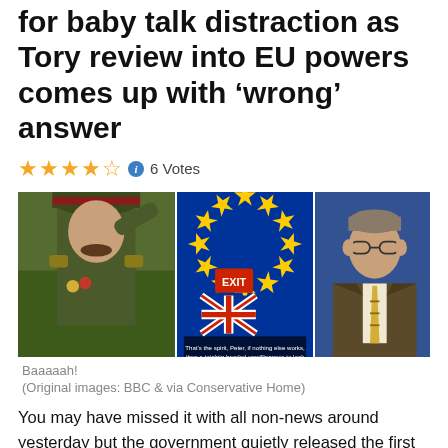for baby talk distraction as Tory review into EU powers comes up with ‘wrong’ answer
6 Votes
[Figure (photo): Composite image: a man in military uniform saluting, a graphic of EU flag with Exit sign and Union Jack, and a man in a suit.]
Baaaaah!
(Original images: BBC & via Conservative Home)
You may have missed it with all non-news around yesterday but the government quietly released the first part of its noisily conceived EU Competences Review. And guess what? It came out broadly in favour of the status